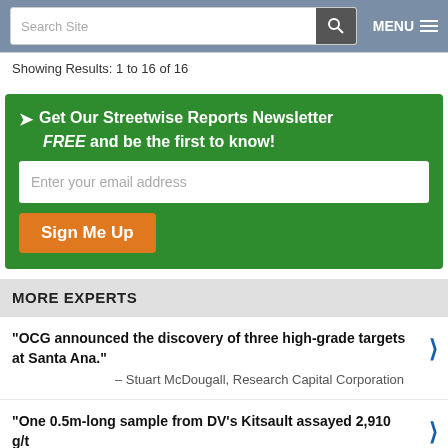Search Site | MENU
Showing Results: 1 to 16 of 16
Get Our Streetwise Reports Newsletter FREE and be the first to know! [email signup form with Sign Me Up button]
MORE EXPERTS
"OCG announced the discovery of three high-grade targets at Santa Ana." – Stuart McDougall, Research Capital Corporation
"One 0.5m-long sample from DV's Kitsault assayed 2,910 g/t